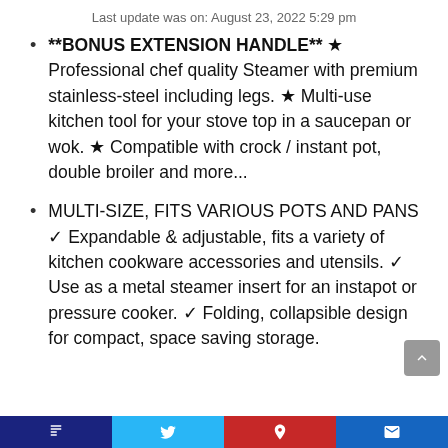Last update was on: August 23, 2022 5:29 pm
**BONUS EXTENSION HANDLE** &#x2605 Professional chef quality Steamer with premium stainless-steel including legs. &#x2605 Multi-use kitchen tool for your stove top in a saucepan or wok. &#x2605 Compatible with crock / instant pot, double broiler and more...
MULTI-SIZE, FITS VARIOUS POTS AND PANS &#10003 Expandable & adjustable, fits a variety of kitchen cookware accessories and utensils. &#10003 Use as a metal steamer insert for an instapot or pressure cooker. &#10003 Folding, collapsible design for compact, space saving storage.